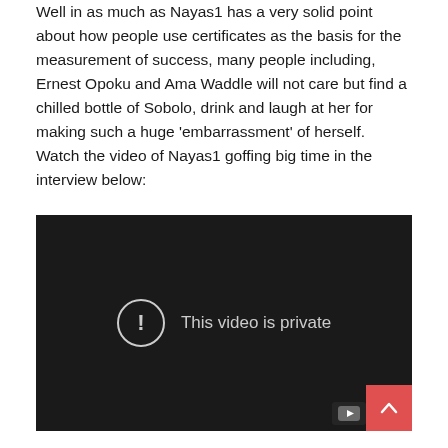Well in as much as Nayas1 has a very solid point about how people use certificates as the basis for the measurement of success, many people including, Ernest Opoku and Ama Waddle will not care but find a chilled bottle of Sobolo, drink and laugh at her for making such a huge ‘embarrassment’ of herself. Watch the video of Nayas1 goffing big time in the interview below:
[Figure (screenshot): Embedded video player showing a dark/black background with a circle exclamation icon and the message 'This video is private'. A YouTube logo badge appears in the bottom right corner of the video player.]